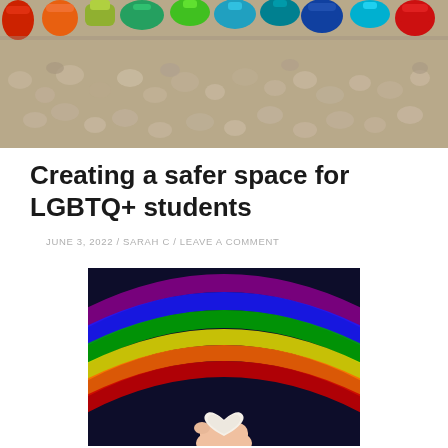[Figure (photo): Row of colorful shoes and sandals on pebbled ground viewed from above]
Creating a safer space for LGBTQ+ students
JUNE 3, 2022 / SARAH C / LEAVE A COMMENT
[Figure (photo): Hand holding a white heart shape in front of a rainbow on a dark background]